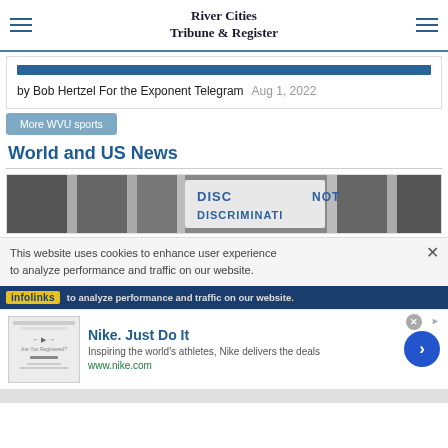River Cities Tribune & Register
by Bob Hertzel For the Exponent Telegram  Aug 1, 2022
More WVU sports
World and US News
[Figure (photo): Black and white photo of a protest sign reading 'DISCRIMINATION' (partial), shown against building columns]
This website uses cookies to enhance user experience to analyze performance and traffic on our website.
infolinks  to analyze performance and traffic on our website.
[Figure (other): Nike advertisement: Nike. Just Do It — Inspiring the world's athletes, Nike delivers the deals — www.nike.com]